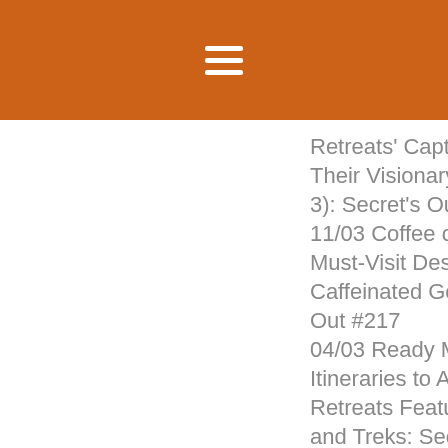[Figure (other): Orange header bar with white hamburger menu icon (three horizontal lines)]
Retreats' Captivating Hotels and Their Visionary Founders (Part 3): Secret's Out #219
11/03 Coffee or Tea? Six of Asia's Must-Visit Destinations for all Caffeinated Gourmands: Secret's Out #217
04/03 Ready Made Travel Itineraries to Asia from Secret Retreats Featuring Gentle Walks and Treks: Secret's Out #216
26/02 Movies shot in Asia that will